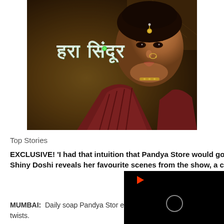[Figure (photo): Movie or TV show promotional poster featuring a woman in traditional Indian attire with jewelry (nose ring, maang tikka), dark background with golden/brown tones. Hindi text overlay reading the show title in Devanagari script.]
Top Stories
EXCLUSIVE! 'I had that intuition that Pandya Store would go a long way' Dhara aka Shiny Doshi reveals her favourite scenes from the show, a completing 500 episodes
MUMBAI:  Daily soap Pandya Stor everyone's heart with its gripping twists.